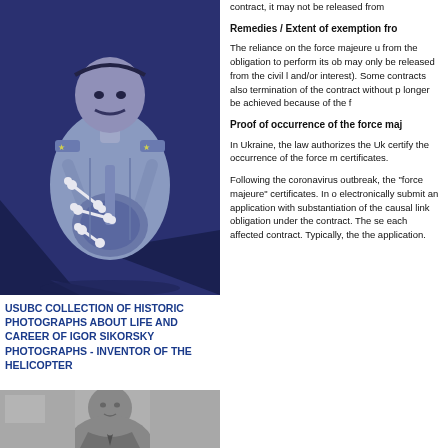[Figure (illustration): Stylized illustration of a Soviet military officer figure holding bones, in blue/dark tones]
USUBC COLLECTION OF HISTORIC PHOTOGRAPHS ABOUT LIFE AND CAREER OF IGOR SIKORSKY PHOTOGRAPHS - INVENTOR OF THE HELICOPTER
[Figure (photo): Black and white portrait photo of Igor Sikorsky]
contract, it may not be released from
Remedies / Extent of exemption fro
The reliance on the force majeure u from the obligation to perform its ob may only be released from the civil l and/or interest). Some contracts also termination of the contract without p longer be achieved because of the f
Proof of occurrence of the force maj
In Ukraine, the law authorizes the Uk certify the occurrence of the force m certificates.
Following the coronavirus outbreak, the "force majeure" certificates. In o electronically submit an application with substantiation of the causal link obligation under the contract. The se each affected contract. Typically, the the application.